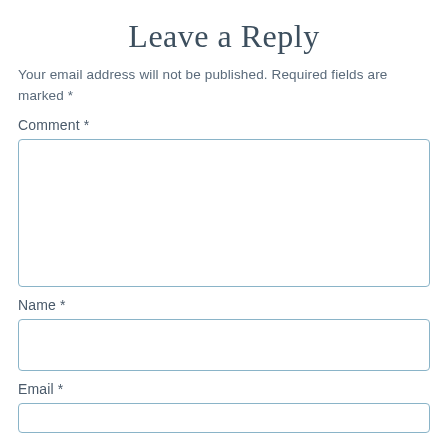Leave a Reply
Your email address will not be published. Required fields are marked *
Comment *
[Figure (other): Empty comment textarea input box with teal/blue border]
Name *
[Figure (other): Empty name text input box with teal/blue border]
Email *
[Figure (other): Empty email text input box with teal/blue border, partially visible]